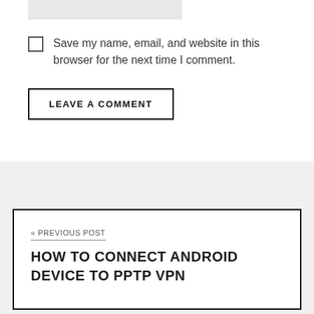Save my name, email, and website in this browser for the next time I comment.
LEAVE A COMMENT
« PREVIOUS POST
HOW TO CONNECT ANDROID DEVICE TO PPTP VPN